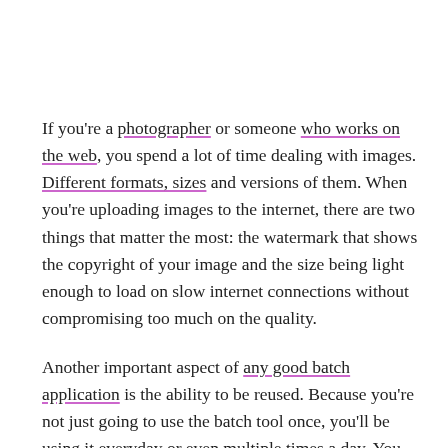If you're a photographer or someone who works on the web, you spend a lot of time dealing with images. Different formats, sizes and versions of them. When you're uploading images to the internet, there are two things that matter the most: the watermark that shows the copyright of your image and the size being light enough to load on slow internet connections without compromising too much on the quality.
Another important aspect of any good batch application is the ability to be reused. Because you're not just going to use the batch tool once, you'll be using it everyday or even multiple times a day. You need a good way to save your configured image settings so you don't have to customize them every time you want to resize an image or add a watermark for your site.